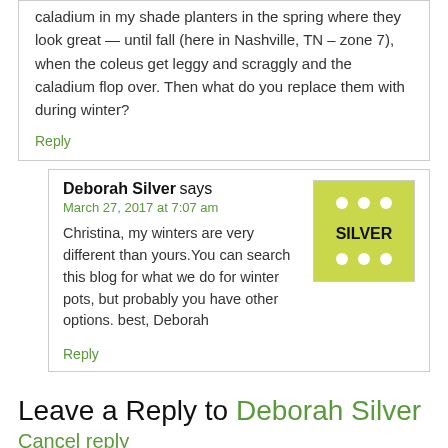caladium in my shade planters in the spring where they look great — until fall (here in Nashville, TN – zone 7), when the coleus get leggy and scraggly and the caladium flop over. Then what do you replace them with during winter?
Reply
Deborah Silver says
March 27, 2017 at 7:07 am
[Figure (logo): Green square logo with white dots and the word SILVER in black text]
Christina, my winters are very different than yours.You can search this blog for what we do for winter pots, but probably you have other options. best, Deborah
Reply
Leave a Reply to Deborah Silver
Cancel reply